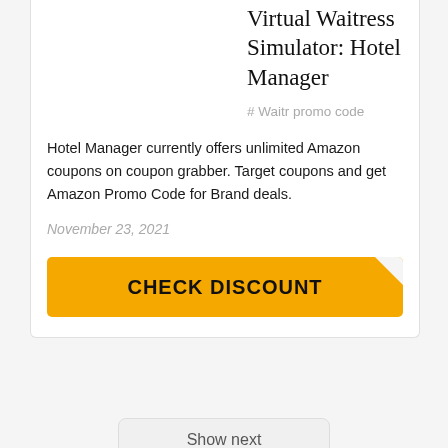Virtual Waitress Simulator: Hotel Manager
# Waitr promo code
Hotel Manager currently offers unlimited Amazon coupons on coupon grabber. Target coupons and get Amazon Promo Code for Brand deals.
November 23, 2021
CHECK DISCOUNT
Show next